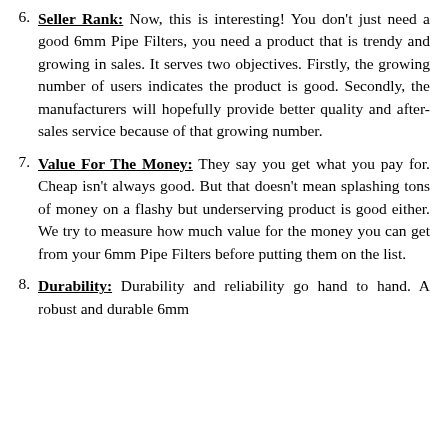6. Seller Rank: Now, this is interesting! You don't just need a good 6mm Pipe Filters, you need a product that is trendy and growing in sales. It serves two objectives. Firstly, the growing number of users indicates the product is good. Secondly, the manufacturers will hopefully provide better quality and after-sales service because of that growing number.
7. Value For The Money: They say you get what you pay for. Cheap isn't always good. But that doesn't mean splashing tons of money on a flashy but underserving product is good either. We try to measure how much value for the money you can get from your 6mm Pipe Filters before putting them on the list.
8. Durability: Durability and reliability go hand to hand. A robust and durable 6mm